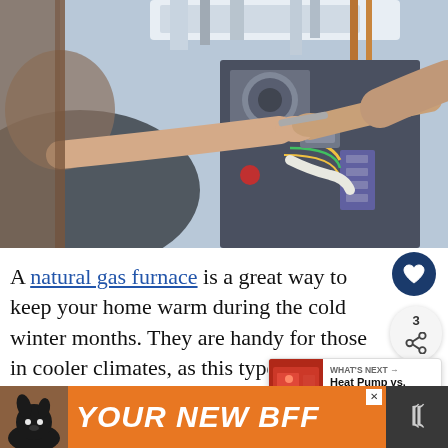[Figure (photo): A person's hands using a screwdriver or wrench to work on the internal components of a gas furnace or boiler unit, with pipes, coils, and mechanical parts visible inside the open appliance panel.]
A natural gas furnace is a great way to keep your home warm during the cold winter months. They are handy for those in cooler climates, as this type of region will require more heat to keep a house comfortable.
[Figure (infographic): WHAT'S NEXT arrow label with thumbnail showing Heat Pump vs. Tankless... article preview]
[Figure (infographic): Orange advertisement banner reading YOUR NEW BFF with a black dog silhouette image on the left and a close (x) button]